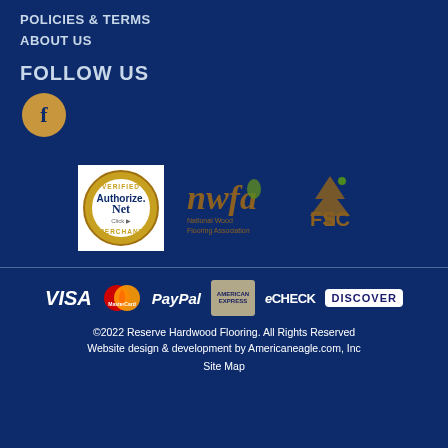POLICIES & TERMS
ABOUT US
FOLLOW US
[Figure (logo): Facebook icon - gold circle with letter f]
[Figure (logo): Authorize.Net Verified Merchant badge, NWFA National Wood Flooring Association logo, FSC logo]
[Figure (logo): Payment method logos: VISA, MasterCard, PayPal, American Express, eCHECK, DISCOVER]
©2022 Reserve Hardwood Flooring. All Rights Reserved
Website design & development by Americaneagle.com, Inc
Site Map